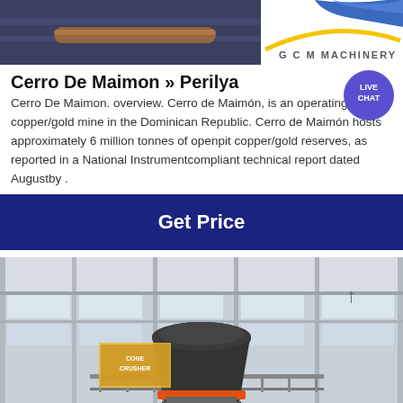[Figure (photo): GCM Machinery banner/logo at top of page with blue machinery background and yellow arc, text reads GCM MACHINERY]
Cerro De Maimon » Perilya
Cerro De Maimon. overview. Cerro de Maimón, is an operating copper/gold mine in the Dominican Republic. Cerro de Maimón hosts approximately 6 million tonnes of openpit copper/gold reserves, as reported in a National Instrumentcompliant technical report dated Augustby .
[Figure (other): Live Chat bubble icon, circular purple badge with LIVE CHAT text]
Get Price
[Figure (photo): Industrial machinery photo showing a large cone crusher in a factory/exhibition hall with steel frame structure and windows]